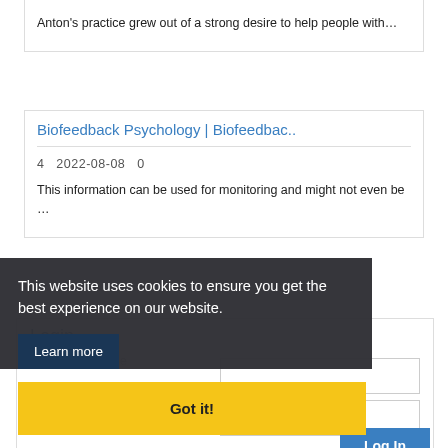Anton's practice grew out of a strong desire to help people with...
Biofeedback Psychology | Biofeedbac..
4  2022-08-08  0
This information can be used for monitoring and might not even be ...
Login
This website uses cookies to ensure you get the best experience on our website.
Learn more
Remember Me
Got it!
Register | Forgot Password?
Log In